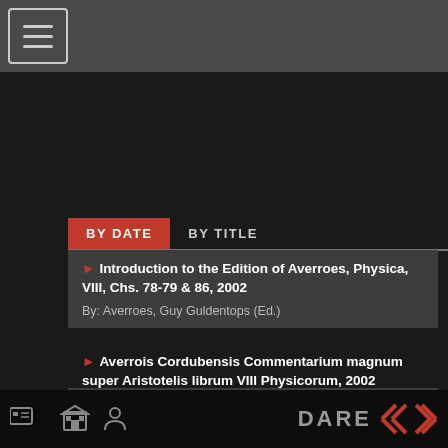[Navigation bar with hamburger menu]
BY DATE | BY TITLE
Introduction to the Edition of Averroes, Physica, VIII, Chs. 78-79 & 86, 2002 — By: Averroes, Guy Guldentops (Ed.)
Averrois Cordubensis Commentarium magnum super Aristotelis librum VIII Physicorum, 2002 — By: Averroes, Guy Guldentops (Ed.)
Averroes in Henry Bate's Metaphysics, 2001 — By: Guy Guldentops
DARE [logo with icons]